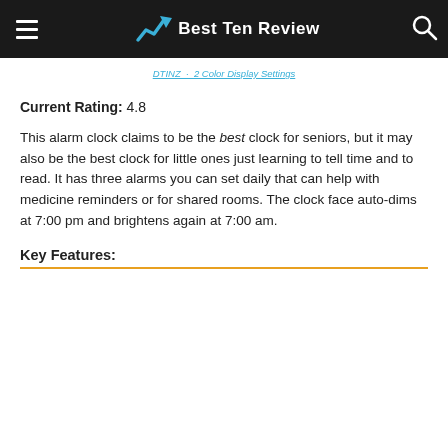Best Ten Review
DTINZ · 2 Color Display Settings
Current Rating: 4.8
This alarm clock claims to be the best clock for seniors, but it may also be the best clock for little ones just learning to tell time and to read. It has three alarms you can set daily that can help with medicine reminders or for shared rooms. The clock face auto-dims at 7:00 pm and brightens again at 7:00 am.
Key Features: